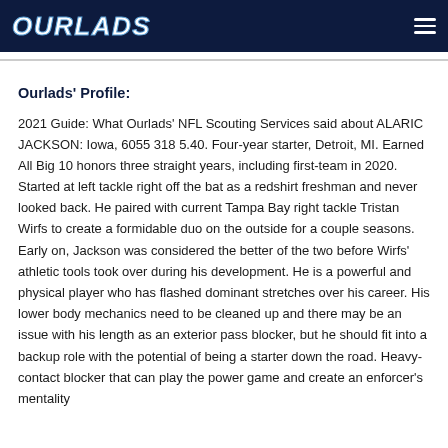OURLADS
Ourlads' Profile:
2021 Guide: What Ourlads' NFL Scouting Services said about ALARIC JACKSON: Iowa, 6055 318 5.40. Four-year starter, Detroit, MI. Earned All Big 10 honors three straight years, including first-team in 2020. Started at left tackle right off the bat as a redshirt freshman and never looked back. He paired with current Tampa Bay right tackle Tristan Wirfs to create a formidable duo on the outside for a couple seasons. Early on, Jackson was considered the better of the two before Wirfs' athletic tools took over during his development. He is a powerful and physical player who has flashed dominant stretches over his career. His lower body mechanics need to be cleaned up and there may be an issue with his length as an exterior pass blocker, but he should fit into a backup role with the potential of being a starter down the road. Heavy-contact blocker that can play the power game and create an enforcer's mentality